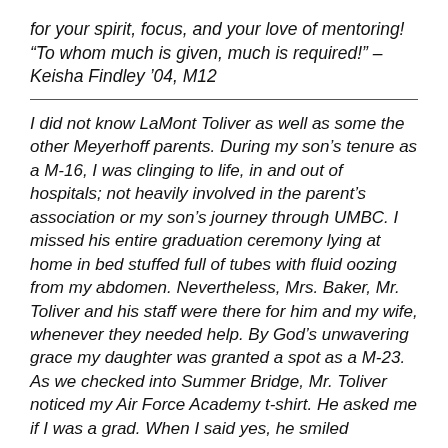for your spirit, focus, and your love of mentoring! “To whom much is given, much is required!” – Keisha Findley ’04, M12
I did not know LaMont Toliver as well as some the other Meyerhoff parents. During my son’s tenure as a M-16, I was clinging to life, in and out of hospitals; not heavily involved in the parent’s association or my son’s journey through UMBC. I missed his entire graduation ceremony lying at home in bed stuffed full of tubes with fluid oozing from my abdomen. Nevertheless, Mrs. Baker, Mr. Toliver and his staff were there for him and my wife, whenever they needed help. By God’s unwavering grace my daughter was granted a spot as a M-23. As we checked into Summer Bridge, Mr. Toliver noticed my Air Force Academy t-shirt. He asked me if I was a grad. When I said yes, he smiled